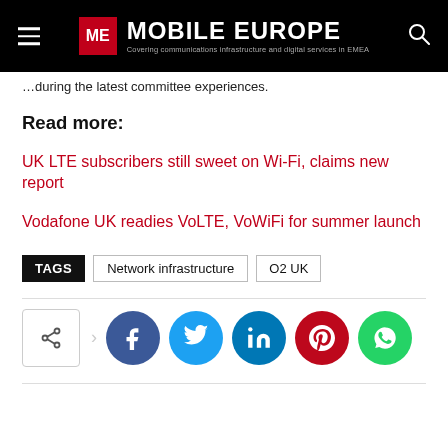ME MOBILE EUROPE – Covering communications infrastructure and digital services in EMEA
…during the latest committee experiences.
Read more:
UK LTE subscribers still sweet on Wi-Fi, claims new report
Vodafone UK readies VoLTE, VoWiFi for summer launch
TAGS: Network infrastructure | O2 UK
[Figure (infographic): Social media share buttons: share icon box, Facebook, Twitter, LinkedIn, Pinterest, WhatsApp]